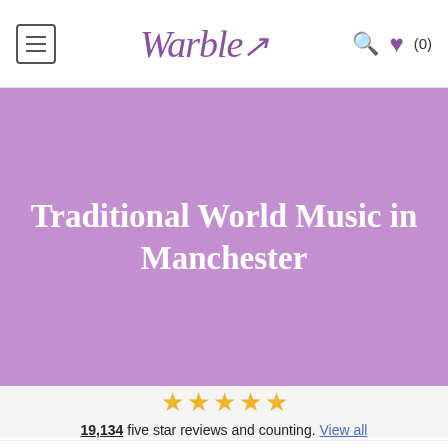Warble — navigation header with hamburger menu, logo, search and heart (0) icons
Traditional World Music in Manchester
19,134 five star reviews and counting. View all
Traditional World Music in Manchester